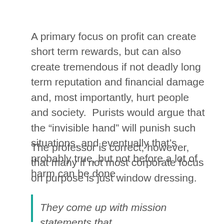A primary focus on profit can create short term rewards, but can also create tremendous if not deadly long term reputation and financial damage and, most importantly, hurt people and society.  Purists would argue that the “invisible hand” will punish such situations, and eventually that’s probably true, but not before a lot of harm can be done.
The professor is correct, however, that many if not most corporate focus on purpose is just window dressing.
They come up with mission statements that